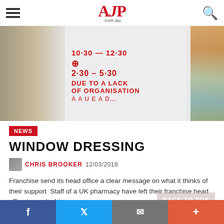AJP .com.au
[Figure (photo): A pharmacy window with a handwritten sign in red marker reading times and 'DUE TO A LACK OF ORGANISATION', with shelves visible in the background on both sides.]
NEWS
WINDOW DRESSING
CHRIS BROOKER 12/03/2018
Franchise send its head office a clear message on what it thinks of their support  Staff of a UK pharmacy have left their franchise head office in no doubt as …
f  Twitter  Email  +